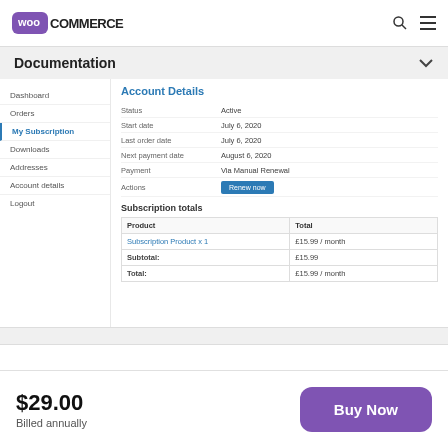WooCommerce
Documentation
Account Details
Status: Active | Start date: July 6, 2020 | Last order date: July 6, 2020 | Next payment date: August 6, 2020 | Payment: Via Manual Renewal | Actions: Renew now
Subscription totals
| Product | Total |
| --- | --- |
| Subscription Product x 1 | £15.99 / month |
| Subtotal | £15.99 |
| Total | £15.99 / month |
$29.00
Billed annually
Buy Now